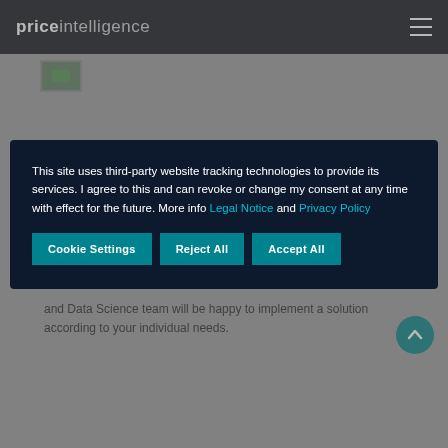priceintelligence
[Figure (screenshot): Small green image thumbnail below navigation bar]
and Data Science team will be happy to implement a solution according to your individual needs.
This site uses third-party website tracking technologies to provide its services. I agree to this and can revoke or change my consent at any time with effect for the future. More info Legal Notice and Privacy Policy
Cookie Settings  Reject All  Accept All